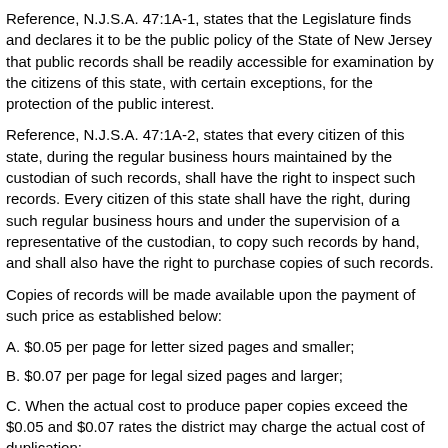Reference, N.J.S.A. 47:1A-1, states that the Legislature finds and declares it to be the public policy of the State of New Jersey that public records shall be readily accessible for examination by the citizens of this state, with certain exceptions, for the protection of the public interest.
Reference, N.J.S.A. 47:1A-2, states that every citizen of this state, during the regular business hours maintained by the custodian of such records, shall have the right to inspect such records. Every citizen of this state shall have the right, during such regular business hours and under the supervision of a representative of the custodian, to copy such records by hand, and shall also have the right to purchase copies of such records.
Copies of records will be made available upon the payment of such price as established below:
A. $0.05 per page for letter sized pages and smaller;
B. $0.07 per page for legal sized pages and larger;
C. When the actual cost to produce paper copies exceed the $0.05 and $0.07 rates the district may charge the actual cost of duplication;